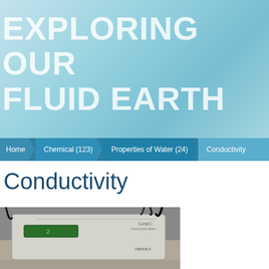EXPLORING OUR FLUID EARTH
Home > Chemical (123) > Properties of Water (24) > Conductivity
Conductivity
[Figure (photo): A Conductivity meter device (appears to be a Conductivity/TDS meter by Hanna Instruments or similar brand) sitting on a table with cables attached, photographed from above at a slight angle.]